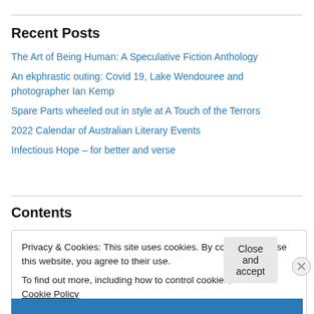Recent Posts
The Art of Being Human: A Speculative Fiction Anthology
An ekphrastic outing: Covid 19, Lake Wendouree and photographer Ian Kemp
Spare Parts wheeled out in style at A Touch of the Terrors
2022 Calendar of Australian Literary Events
Infectious Hope – for better and verse
Contents
Privacy & Cookies: This site uses cookies. By continuing to use this website, you agree to their use.
To find out more, including how to control cookies, see here: Cookie Policy
Close and accept